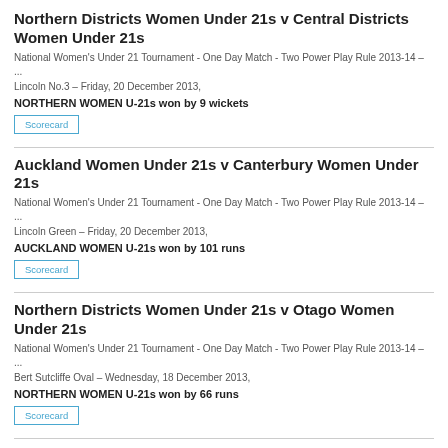Northern Districts Women Under 21s v Central Districts Women Under 21s
National Women's Under 21 Tournament - One Day Match - Two Power Play Rule 2013-14 – ...
Lincoln No.3 – Friday, 20 December 2013,
NORTHERN WOMEN U-21s won by 9 wickets
Scorecard
Auckland Women Under 21s v Canterbury Women Under 21s
National Women's Under 21 Tournament - One Day Match - Two Power Play Rule 2013-14 – ...
Lincoln Green – Friday, 20 December 2013,
AUCKLAND WOMEN U-21s won by 101 runs
Scorecard
Northern Districts Women Under 21s v Otago Women Under 21s
National Women's Under 21 Tournament - One Day Match - Two Power Play Rule 2013-14 – ...
Bert Sutcliffe Oval – Wednesday, 18 December 2013,
NORTHERN WOMEN U-21s won by 66 runs
Scorecard
Canterbury Women Under 21s v Wellington Women Under 21s